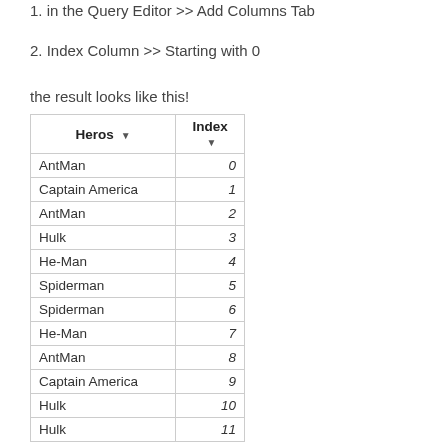1. in the Query Editor >> Add Columns Tab
2. Index Column >> Starting with 0
the result looks like this!
| Heros | Index |
| --- | --- |
| AntMan | 0 |
| Captain America | 1 |
| AntMan | 2 |
| Hulk | 3 |
| He-Man | 4 |
| Spiderman | 5 |
| Spiderman | 6 |
| He-Man | 7 |
| AntMan | 8 |
| Captain America | 9 |
| Hulk | 10 |
| Hulk | 11 |